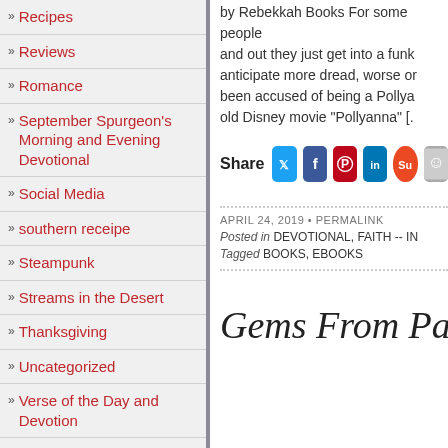Recipes
Reviews
Romance
September Spurgeon's Morning and Evening Devotional
Social Media
southern receipe
Steampunk
Streams in the Desert
Thanksgiving
Uncategorized
Verse of the Day and Devotion
by Rebekkah Books For some people and out they just get into a funk anticipate more dread, worse or been accused of being a Pollya old Disney movie "Pollyanna" [.
[Figure (infographic): Share bar with social media icons: Twitter, Facebook, Pinterest, LinkedIn, StumbleUpon, and one more icon]
APRIL 24, 2019 • PERMALINK
Posted in DEVOTIONAL, FAITH -- IN
Tagged BOOKS, EBOOKS
Gems From Pas